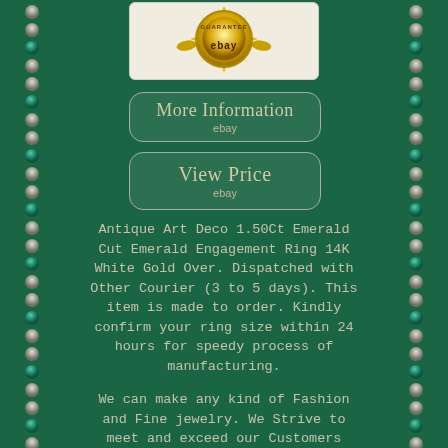[Figure (logo): eBay guarantee badge - gold circular seal with 'GUARANTEE' text and 'ebay' text, on a light cream background box]
[Figure (other): Rounded button with 'More Information' text and 'ebay' subtext on dark green background]
[Figure (other): Rounded button with 'View Price' text and 'ebay' subtext on dark green background]
Antique Art Deco 1.50Ct Emerald Cut Emerald Engagement Ring 14K White Gold Over. Dispatched with Other Courier (3 to 5 days). This item is made to order. Kindly confirm your ring size within 24 hours for speedy process of manufacturing.
We can make any kind of Fashion and Fine jewelry. We Strive to meet and exceed our Customers